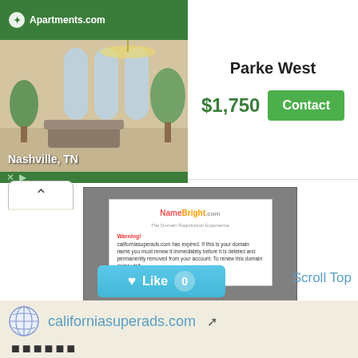[Figure (screenshot): Apartments.com ad banner showing 'Parke West' property in Nashville, TN at $1,750 with a Contact button and interior photo]
[Figure (screenshot): NameBright.com domain expiration warning page screenshot shown inside a gray box with Siteprice.org watermark]
[Figure (screenshot): Like button (heart icon, count 0) and Scroll Top link]
californiasuperads.com
🔲🔲🔲🔲🔲🔲
free classifeds. post and find free classified ads for used cars, pets, real estate, items for sale, jobs,